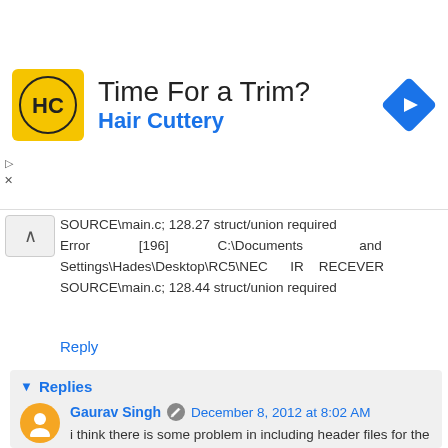[Figure (advertisement): Hair Cuttery ad banner with yellow logo, title 'Time For a Trim?' and blue subtitle 'Hair Cuttery', with a blue navigation/direction diamond icon on the right]
SOURCE\main.c; 128.27 struct/union required
Error [196] C:\Documents and Settings\Hades\Desktop\RC5\NEC IR RECEVER SOURCE\main.c; 128.44 struct/union required
Reply
Replies
Gaurav Singh  December 8, 2012 at 8:02 AM
i think there is some problem in including header files for the project or you imported wrong header file or selected the wrong target device
Reply